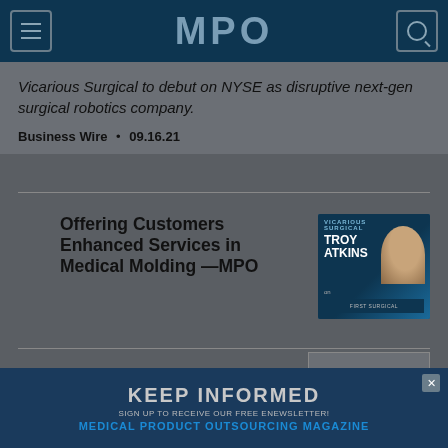MPO
Vicarious Surgical to debut on NYSE as disruptive next-gen surgical robotics company.
Business Wire • 09.16.21
Offering Customers Enhanced Services in Medical Molding —MPO
[Figure (photo): Thumbnail image with MPO branding showing a person (Troy Atkins) on dark blue background with overlay label]
[Figure (screenshot): Advertisement banner: KEEP INFORMED - SIGN UP TO RECEIVE OUR FREE ENEWSLETTER! MEDICAL PRODUCT OUTSOURCING MAGAZINE]